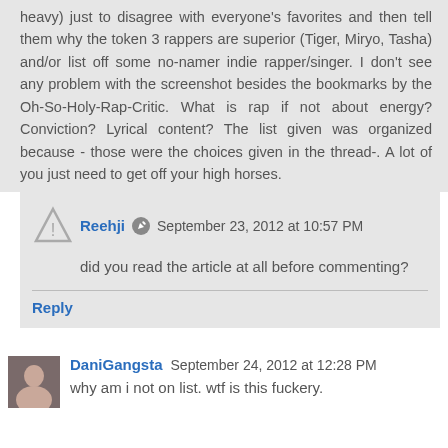heavy) just to disagree with everyone's favorites and then tell them why the token 3 rappers are superior (Tiger, Miryo, Tasha) and/or list off some no-namer indie rapper/singer. I don't see any problem with the screenshot besides the bookmarks by the Oh-So-Holy-Rap-Critic. What is rap if not about energy? Conviction? Lyrical content? The list given was organized because - those were the choices given in the thread-. A lot of you just need to get off your high horses.
Reehji  September 23, 2012 at 10:57 PM
did you read the article at all before commenting?
Reply
DaniGangsta  September 24, 2012 at 12:28 PM
why am i not on list. wtf is this fuckery.